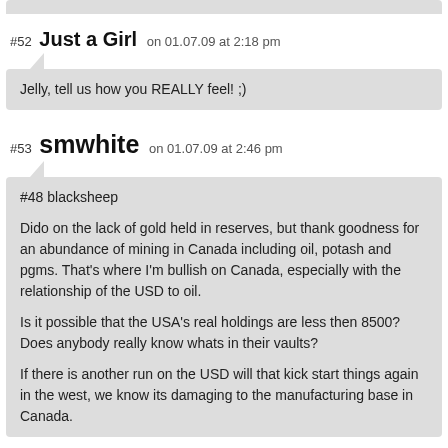#52 Just a Girl on 01.07.09 at 2:18 pm
Jelly, tell us how you REALLY feel! ;)
#53 smwhite on 01.07.09 at 2:46 pm
#48 blacksheep

Dido on the lack of gold held in reserves, but thank goodness for an abundance of mining in Canada including oil, potash and pgms. That's where I'm bullish on Canada, especially with the relationship of the USD to oil.

Is it possible that the USA's real holdings are less then 8500? Does anybody really know whats in their vaults?

If there is another run on the USD will that kick start things again in the west, we know its damaging to the manufacturing base in Canada.